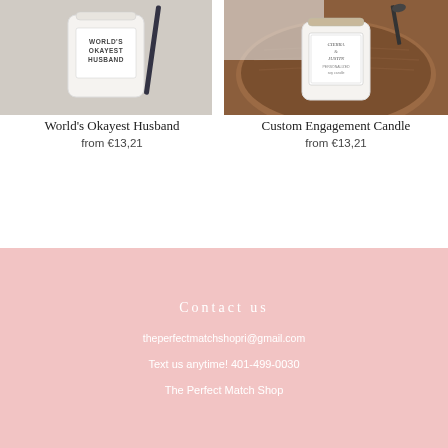[Figure (photo): Photo of a white candle jar labeled 'World's Okayest Husband' with a pen/pencil in the background, on a light fabric surface]
[Figure (photo): Photo of a white candle jar labeled 'Custom Engagement Candle' (with names 'Sierra & Justin') on a round wooden tray with scissors nearby]
World's Okayest Husband
from €13,21
Custom Engagement Candle
from €13,21
Contact us
theperfectmatchshopri@gmail.com
Text us anytime! 401-499-0030
The Perfect Match Shop